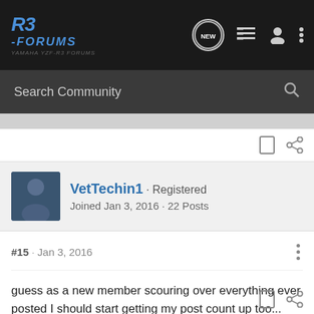[Figure (screenshot): R3 Forums website navigation bar with logo, search bar, and icons]
VetTechin1 · Registered
Joined Jan 3, 2016 · 22 Posts
#15 · Jan 3, 2016
guess as a new member scouring over everything ever posted I should start getting my post count up too...